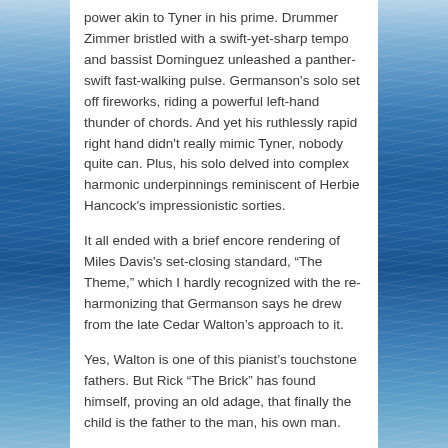power akin to Tyner in his prime. Drummer Zimmer bristled with a swift-yet-sharp tempo and bassist Dominguez unleashed a panther-swift fast-walking pulse. Germanson's solo set off fireworks, riding a powerful left-hand thunder of chords. And yet his ruthlessly rapid right hand didn't really mimic Tyner, nobody quite can. Plus, his solo delved into complex harmonic underpinnings reminiscent of Herbie Hancock's impressionistic sorties.
It all ended with a brief encore rendering of Miles Davis's set-closing standard, “The Theme,” which I hardly recognized with the re-harmonizing that Germanson says he drew from the late Cedar Walton’s approach to it.
Yes, Walton is one of this pianist’s touchstone fathers. But Rick “The Brick” has found himself, proving an old adage, that finally the child is the father to the man, his own man.
1. A few more words about the new-and-improved Jazz